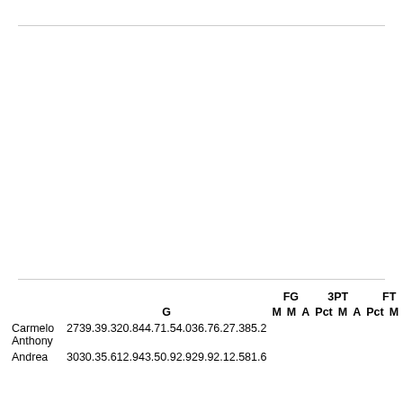|  | G | M | M | A | Pct | M | A | Pct | M | A | Pct | Off | Def |
| --- | --- | --- | --- | --- | --- | --- | --- | --- | --- | --- | --- | --- | --- |
| Carmelo Anthony | 27 | 39.3 | 9.3 | 20.8 | 44.7 | 1.5 | 4.0 | 36.7 | 6.2 | 7.3 | 85.2 | 2.5 | 6.3 |
| Andrea | 30 | 30.3 | 5.6 | 12.9 | 43.5 | 0.9 | 2.9 | 29.9 | 2.1 | 2.5 | 81.6 | 1.7 | 3.6 |